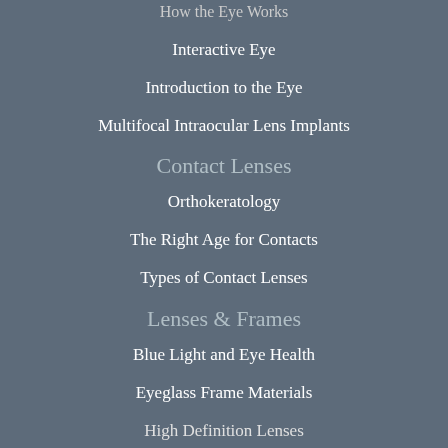Interactive Eye
Introduction to the Eye
Multifocal Intraocular Lens Implants
Contact Lenses
Orthokeratology
The Right Age for Contacts
Types of Contact Lenses
Lenses & Frames
Blue Light and Eye Health
Eyeglass Frame Materials
High Definition Lenses